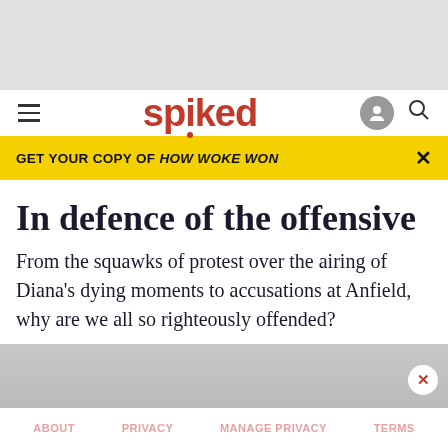[Figure (other): Gray advertisement banner placeholder at top of page]
spiked — navigation bar with hamburger menu, spiked logo, user icon, and search icon
GET YOUR COPY OF HOW WOKE WON
In defence of the offensive
From the squawks of protest over the airing of Diana's dying moments to accusations at Anfield, why are we all so righteously offended?
[Figure (photo): Partial grayscale photo of people, partially visible at bottom]
ABOUT   PRIVACY   MANAGE PRIVACY   TERMS